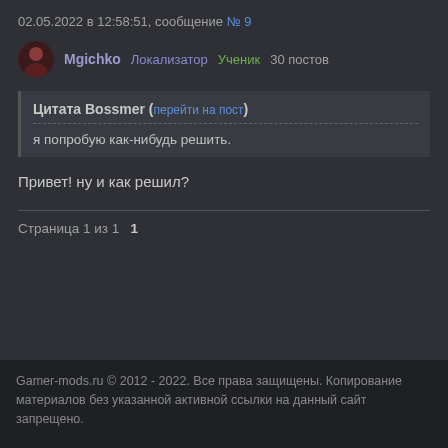02.05.2022 в 12:58:51, сообщение № 9
Mgichko  Локализатор  Ученик  30 постов
Цитата Bossmer (перейти на пост)
я попробую как-нибудь решить.
Привет! ну и как решил?
Страница 1 из 1  1
Gamer-mods.ru © 2012 - 2022. Все права защищены. Копирование материалов без указанной активной ссылки на данный сайт запрещено.